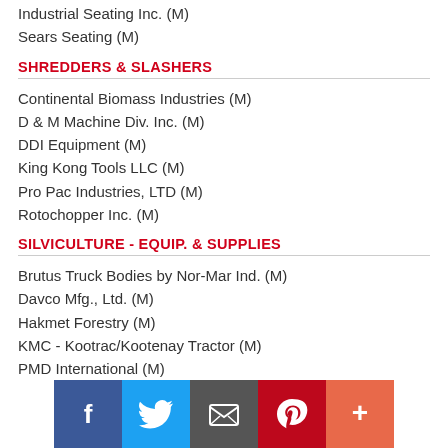Industrial Seating Inc. (M)
Sears Seating (M)
SHREDDERS & SLASHERS
Continental Biomass Industries (M)
D & M Machine Div. Inc. (M)
DDI Equipment (M)
King Kong Tools LLC (M)
Pro Pac Industries, LTD (M)
Rotochopper Inc. (M)
SILVICULTURE - EQUIP. & SUPPLIES
Brutus Truck Bodies by Nor-Mar Ind. (M)
Davco Mfg., Ltd. (M)
Hakmet Forestry (M)
KMC - Kootrac/Kootenay Tractor (M)
PMD International (M)
PRT (M)
Quadel Industries (M)
Rite in the Rain (M)